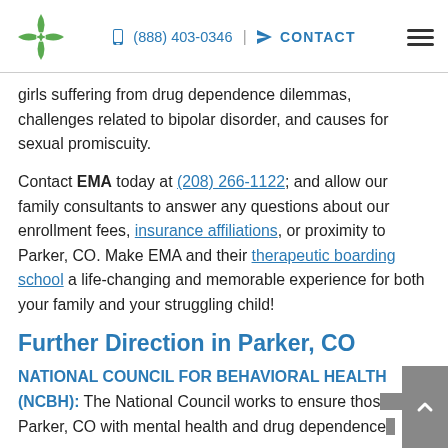(888) 403-0346 | CONTACT
girls suffering from drug dependence dilemmas, challenges related to bipolar disorder, and causes for sexual promiscuity.
Contact EMA today at (208) 266-1122; and allow our family consultants to answer any questions about our enrollment fees, insurance affiliations, or proximity to Parker, CO. Make EMA and their therapeutic boarding school a life-changing and memorable experience for both your family and your struggling child!
Further Direction in Parker, CO
NATIONAL COUNCIL FOR BEHAVIORAL HEALTH (NCBH): The National Council works to ensure those in Parker, CO with mental health and drug dependence